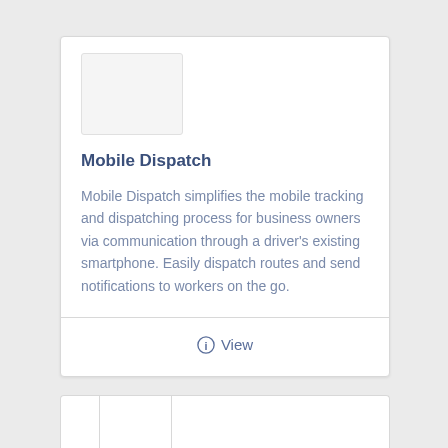[Figure (screenshot): White placeholder image box at the top of the card]
Mobile Dispatch
Mobile Dispatch simplifies the mobile tracking and dispatching process for business owners via communication through a driver's existing smartphone. Easily dispatch routes and send notifications to workers on the go.
ⓘ View